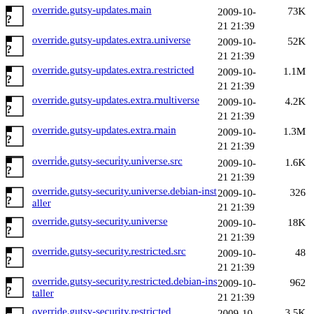override.gutsy-updates.main  2009-10-21 21:39  73K
override.gutsy-updates.extra.universe  2009-10-21 21:39  52K
override.gutsy-updates.extra.restricted  2009-10-21 21:39  1.1M
override.gutsy-updates.extra.multiverse  2009-10-21 21:39  4.2K
override.gutsy-updates.extra.main  2009-10-21 21:39  1.3M
override.gutsy-security.universe.src  2009-10-21 21:39  1.6K
override.gutsy-security.universe.debian-installer  2009-10-21 21:39  326
override.gutsy-security.universe  2009-10-21 21:39  18K
override.gutsy-security.restricted.src  2009-10-21 21:39  48
override.gutsy-security.restricted.debian-installer  2009-10-21 21:39  962
override.gutsy-security.restricted  2009-10-21 21:39  3.5K